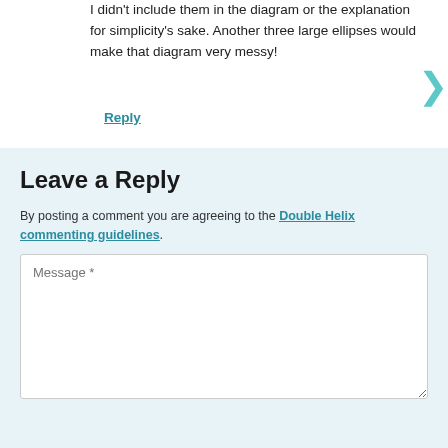I didn't include them in the diagram or the explanation for simplicity's sake. Another three large ellipses would make that diagram very messy!
Reply
Leave a Reply
By posting a comment you are agreeing to the Double Helix commenting guidelines.
[Figure (other): Message text area input field with placeholder text 'Message *']